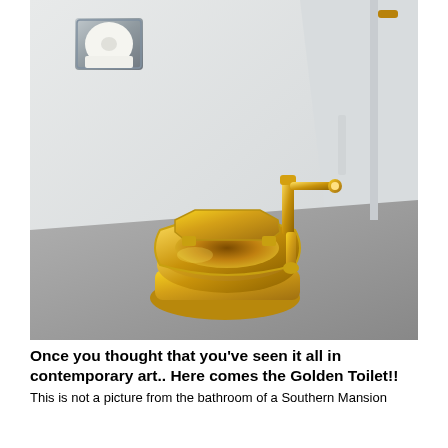[Figure (photo): A gold-plated toilet installed in a white-walled bathroom stall. The toilet is fully gold colored including the seat, bowl, tank flush valve hardware on the right side. A stainless steel toilet paper dispenser is mounted on the upper left wall. The floor appears to be gray concrete or stone. The overall setting is a small bathroom stall with white walls.]
Once you thought that you've seen it all in contemporary art.. Here comes the Golden Toilet!!
This is not a picture from the bathroom of a Southern Mansion